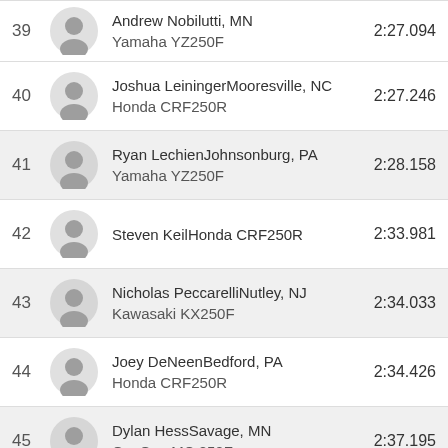39 Andrew Nobilutti, MN Yamaha YZ250F 2:27.094
40 Joshua Leininger Mooresville, NC Honda CRF250R 2:27.246
41 Ryan Lechien Johnsonburg, PA Yamaha YZ250F 2:28.158
42 Steven Keil Honda CRF250R 2:33.981
43 Nicholas Peccarelli Nutley, NJ Kawasaki KX250F 2:34.033
44 Joey DeNeen Bedford, PA Honda CRF250R 2:34.426
45 Dylan Hess Savage, MN GasGas MC 250F 2:37.195